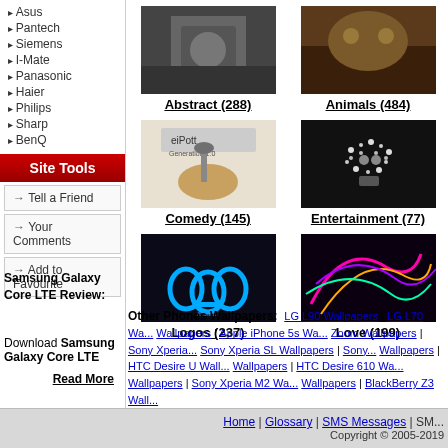Asus
Pantech
Siemens
I-Mate
Panasonic
Haier
Philips
Sharp
BenQ
Site Tools
Tell a Friend
Your Comments
Add to Favourite
Samsung Galaxy Core LTE Review:
Download Samsung Galaxy Core LTE
Read More
[Figure (photo): Abstract wallpaper thumbnail]
Abstract (288)
[Figure (photo): Animals wallpaper thumbnail]
Animals (484)
[Figure (photo): Comedy wallpaper thumbnail - eiPott app]
Comedy (145)
[Figure (photo): Entertainment wallpaper thumbnail - skull]
Entertainment (77)
[Figure (photo): Logos wallpaper thumbnail - Adidas]
Logos (237)
[Figure (photo): Love wallpaper thumbnail - colorful neon]
Love (199)
Other Phones Wallpapers: LG L90 Wallpapers | LG L70 Wallpapers | Apple iPhone 5s Wallpapers | Zoom Wallpapers | Sony Xperia | Sony Xperia SL Wallpapers | Sony Wallpapers | HTC Desire U Wallpapers | HTC Desire 610 Wallpapers | Sony Xperia M2 Wallpapers | BlackBerry Z3 Wallpapers
Home | Glossary | SMS Messages | SM... Copyright © 2005-2019